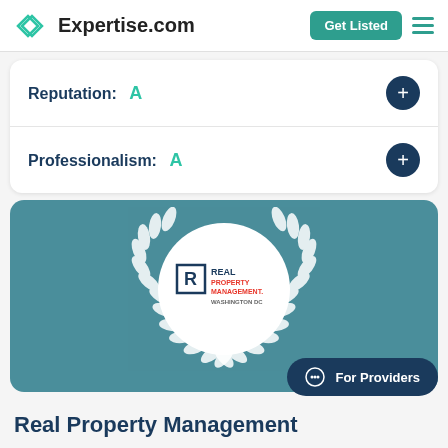Expertise.com
Reputation: A
Professionalism: A
[Figure (logo): Real Property Management Washington DC logo inside a white circle with laurel wreath on teal background]
Real Property Management